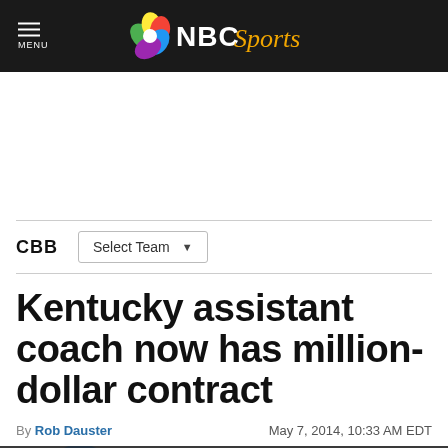NBC Sports
CBB | Select Team
Kentucky assistant coach now has million-dollar contract
By Rob Dauster  May 7, 2014, 10:33 AM EDT
[Figure (photo): Photo of person at bottom of page, partially visible]